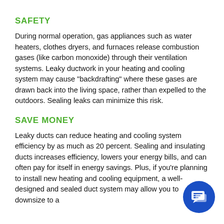SAFETY
During normal operation, gas appliances such as water heaters, clothes dryers, and furnaces release combustion gases (like carbon monoxide) through their ventilation systems. Leaky ductwork in your heating and cooling system may cause "backdrafting" where these gases are drawn back into the living space, rather than expelled to the outdoors. Sealing leaks can minimize this risk.
SAVE MONEY
Leaky ducts can reduce heating and cooling system efficiency by as much as 20 percent. Sealing and insulating ducts increases efficiency, lowers your energy bills, and can often pay for itself in energy savings. Plus, if you're planning to install new heating and cooling equipment, a well-designed and sealed duct system may allow you to downsize to a